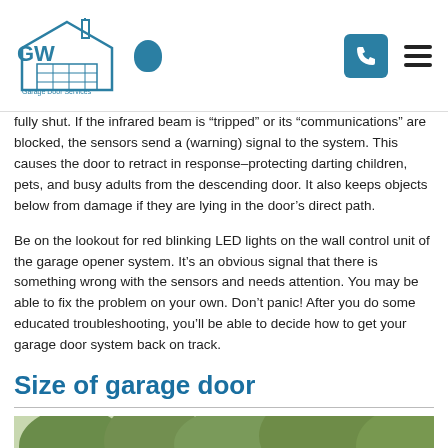GW Garage Door Services
fully shut. If the infrared beam is “tripped” or its “communications” are blocked, the sensors send a (warning) signal to the system. This causes the door to retract in response–protecting darting children, pets, and busy adults from the descending door. It also keeps objects below from damage if they are lying in the door’s direct path.
Be on the lookout for red blinking LED lights on the wall control unit of the garage opener system. It’s an obvious signal that there is something wrong with the sensors and needs attention. You may be able to fix the problem on your own. Don’t panic! After you do some educated troubleshooting, you’ll be able to decide how to get your garage door system back on track.
Size of garage door
[Figure (photo): Exterior photo of a house with trees and a garage door visible]